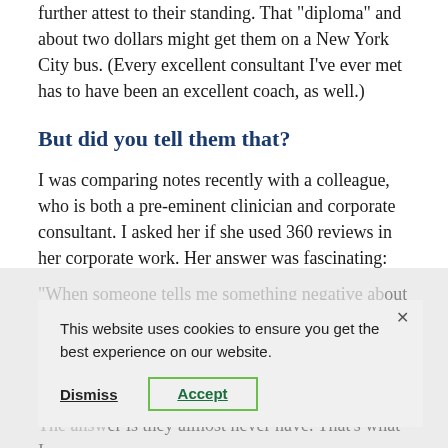further attest to their standing. That 'diploma' and about two dollars might get them on a New York City bus. (Every excellent consultant I've ever met has to have been an excellent coach, as well.)
But did you tell them that?
I was comparing notes recently with a colleague, who is both a pre-eminent clinician and corporate consultant. I asked her if she used 360 reviews in her corporate work. Her answer was fascinating:
"When someone tells me something negative about the executive being discussed, and provides evidence of the behavior, I ask, 'Well, have you told him that?' The answer is they almost never have. That's what I want to change about the dynamic: to create honest interpersonal feedback, and not merely give
[Figure (screenshot): Cookie consent overlay dialog with text 'This website uses cookies to ensure you get the best experience on our website.' with Dismiss and Accept buttons, and an X close button.]